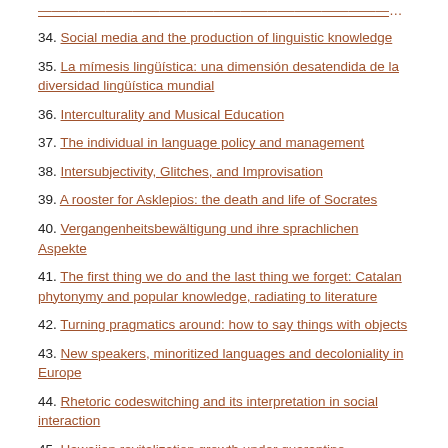34. Social media and the production of linguistic knowledge
35. La mímesis lingüística: una dimensión desatendida de la diversidad lingüística mundial
36. Interculturality and Musical Education
37. The individual in language policy and management
38. Intersubjectivity, Glitches, and Improvisation
39. A rooster for Asklepios: the death and life of Socrates
40. Vergangenheitsbewältigung und ihre sprachlichen Aspekte
41. The first thing we do and the last thing we forget: Catalan phytonymy and popular knowledge, radiating to literature
42. Turning pragmatics around: how to say things with objects
43. New speakers, minoritized languages and decoloniality in Europe
44. Rhetoric codeswitching and its interpretation in social interaction
45. Hawaiian revitalization growth under quarantine
46. A Personal Note – The Māori Language Landscape in Aotearoa New Zealand, 2020
47. Diversity and the Latin language
48. The International Year of Indigenous Languages and media linguistics...